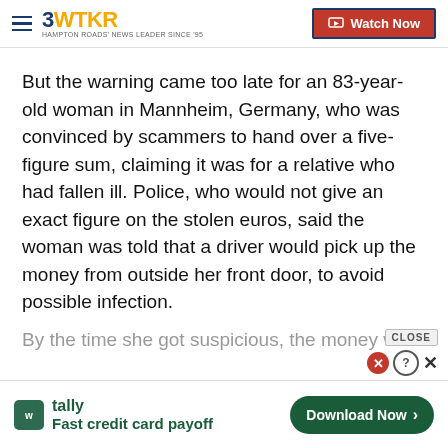3WTKR | Watch Now
But the warning came too late for an 83-year-old woman in Mannheim, Germany, who was convinced by scammers to hand over a five-figure sum, claiming it was for a relative who had fallen ill. Police, who would not give an exact figure on the stolen euros, said the woman was told that a driver would pick up the money from outside her front door, to avoid possible infection.
By the time she got suspicious, the money was go...
[Figure (screenshot): Advertisement banner for Tally app: 'Fast credit card payoff' with Download Now button]